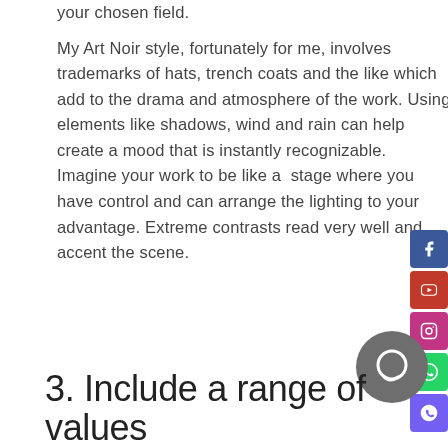your chosen field.
My Art Noir style, fortunately for me, involves trademarks of hats, trench coats and the like which add to the drama and atmosphere of the work. Using elements like shadows, wind and rain can help create a mood that is instantly recognizable.
Imagine your work to be like a stage where you have control and can arrange the lighting to your advantage. Extreme contrasts read very well and accent the scene.
3. Include a range of values